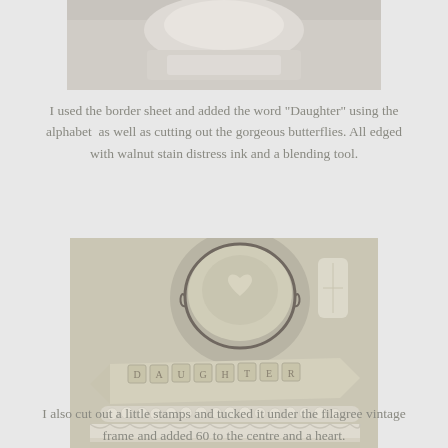[Figure (photo): Partial view of a white/cream crafting material or paper at top of page]
I used the border sheet and added the word "Daughter" using the alphabet  as well as cutting out the gorgeous butterflies. All edged with walnut stain distress ink and a blending tool.
[Figure (photo): Close-up of a vintage-style craft project featuring the word DAUGHTER spelled out in letter tiles on a banner, surrounded by pearls, lace trim, a decorative filigree frame with a heart, and white floral embellishments on a cream/beige background.]
I also cut out a little stamps and tucked it under the filagree vintage frame and added 60 to the centre and a heart.